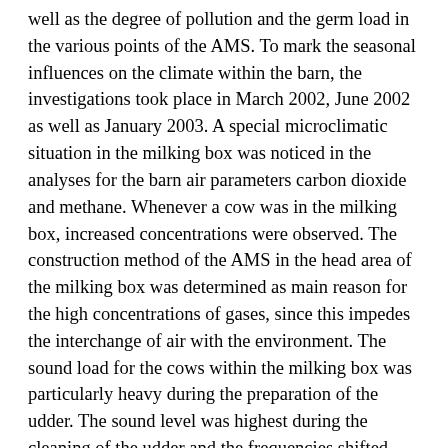well as the degree of pollution and the germ load in the various points of the AMS. To mark the seasonal influences on the climate within the barn, the investigations took place in March 2002, June 2002 as well as January 2003. A special microclimatic situation in the milking box was noticed in the analyses for the barn air parameters carbon dioxide and methane. Whenever a cow was in the milking box, increased concentrations were observed. The construction method of the AMS in the head area of the milking box was determined as main reason for the high concentrations of gases, since this impedes the interchange of air with the environment. The sound load for the cows within the milking box was particularly heavy during the preparation of the udder. The sound level was highest during the cleaning of the udder and the frequencies shifted into the higher range. The description of the hygienic conditions in an AMS was first approached by means of digital pictures, which were made at the interfaces between animal, final product and technology. The visually perceptible degree of pollution could be set in relation to Dab RPR, which were taken at the same time like the digital pictures, and isolated germs therein. An